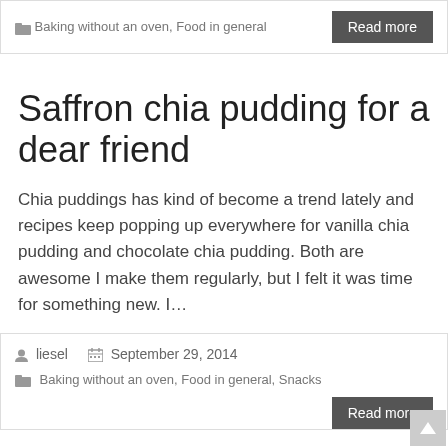Baking without an oven, Food in general
Read more
Saffron chia pudding for a dear friend
Chia puddings has kind of become a trend lately and recipes keep popping up everywhere for vanilla chia pudding and chocolate chia pudding. Both are awesome I make them regularly, but I felt it was time for something new. I…
liesel   September 29, 2014
Baking without an oven, Food in general, Snacks
Read more